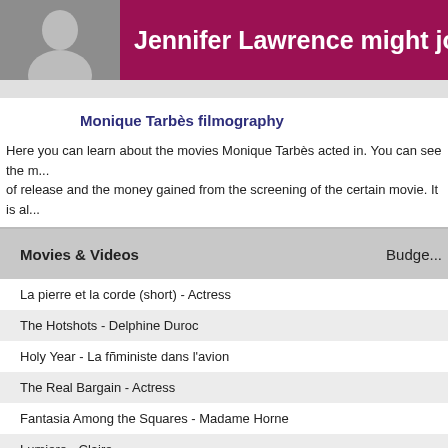Jennifer Lawrence might join Chris Mar...
Monique Tarbès filmography
Here you can learn about the movies Monique Tarbès acted in. You can see the m... of release and the money gained from the screening of the certain movie. It is al...
| Movies & Videos | Budget |
| --- | --- |
| La pierre et la corde (short) - Actress |  |
| The Hotshots - Delphine Duroc |  |
| Holy Year - La fñministe dans l'avion |  |
| The Real Bargain - Actress |  |
| Fantasia Among the Squares - Madame Horne |  |
| Lumiere - Claire |  |
| Ah! Si mon moine voulait... - Maotresse Lamothe |  |
| The Artless One - Appoline |  |
| Le trio infernal - Nurse |  |
| Le magnifique - Mrs. Berger |  |
| Les combinards - Angule, la fille aux dents en or |  |